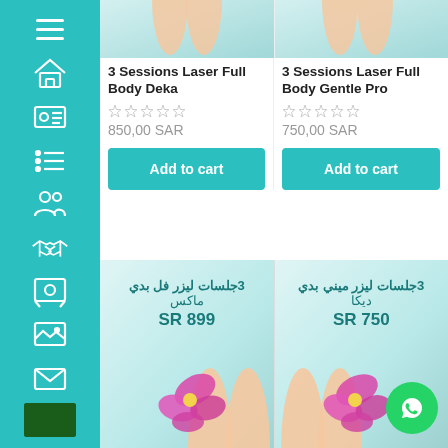[Figure (screenshot): Sidebar navigation with teal background and white icons: hamburger menu, home, ID card, list, people, handshake, support agent, gallery, envelope, Saudi Arabia flag]
[Figure (photo): Top cropped image of woman's legs with teal/light blue background - product 1]
3 Sessions Laser Full Body Deka
850,00 SAR
Add to cart
[Figure (photo): Top cropped image of woman's legs with teal/light blue background - product 2]
3 Sessions Laser Full Body Gentle Pro
750,00 SAR
Add to cart
[Figure (photo): Arabic product card: 3 laser sessions full body Max, SR 899, with pink orchid flower and woman's legs]
[Figure (photo): Arabic product card: 3 laser sessions mini body Deka, SR 750, with pink orchid flower and woman's legs, WhatsApp button overlay]